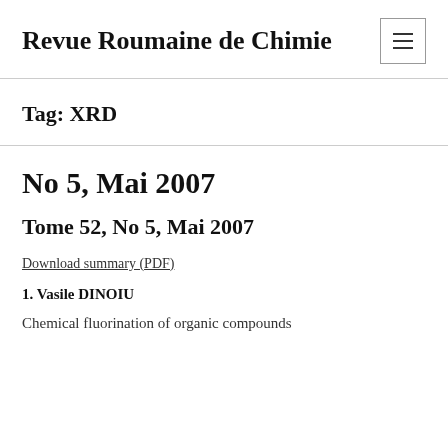Revue Roumaine de Chimie
Tag: XRD
No 5, Mai 2007
Tome 52, No 5, Mai 2007
Download summary (PDF)
1. Vasile DINOIU
Chemical fluorination of organic compounds